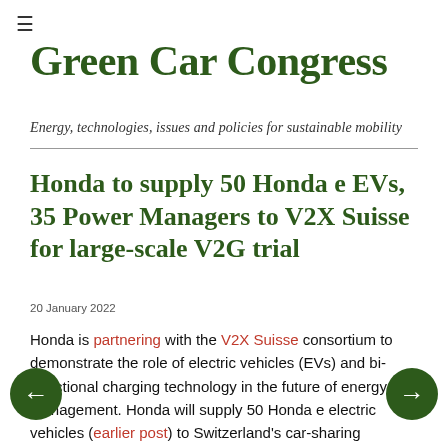≡
Green Car Congress
Energy, technologies, issues and policies for sustainable mobility
Honda to supply 50 Honda e EVs, 35 Power Managers to V2X Suisse for large-scale V2G trial
20 January 2022
Honda is partnering with the V2X Suisse consortium to demonstrate the role of electric vehicles (EVs) and bi-directional charging technology in the future of energy management. Honda will supply 50 Honda e electric vehicles (earlier post) to Switzerland's car-sharing operator, Mobility. The Honda e units will be used as part of a car-sharing fleet in a trial which uses the Honda e's bi-